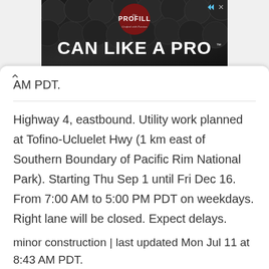[Figure (photo): Advertisement banner for PROFILL 'CAN LIKE A PRO' with dark background showing metallic kegs/cans]
AM PDT.
Highway 4, eastbound. Utility work planned at Tofino-Ucluelet Hwy (1 km east of Southern Boundary of Pacific Rim National Park). Starting Thu Sep 1 until Fri Dec 16. From 7:00 AM to 5:00 PM PDT on weekdays. Right lane will be closed. Expect delays.
minor construction | last updated Mon Jul 11 at 8:43 AM PDT.
Highway 1 (on Vancouver Island). Road maintenance